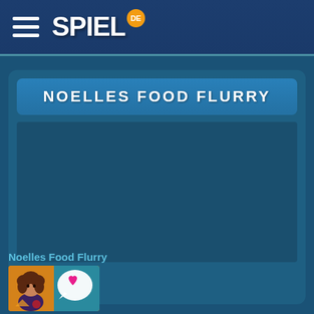SPIEL.DE
NOELLES FOOD FLURRY
[Figure (screenshot): Game play area, large dark blue empty space for embedded game iframe]
Noelles Food Flurry
[Figure (illustration): Game thumbnail showing a cartoon girl with brown curly hair and a speech bubble with a pink heart, on an orange/teal background]